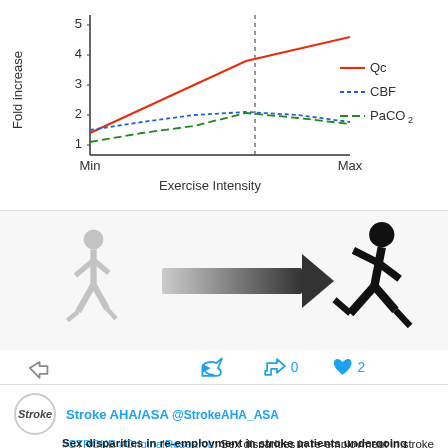[Figure (line-chart): Fold increase vs Exercise Intensity]
[Figure (illustration): Walking figure (grey) on left, large arrow pointing right, running figure (black silhouette) on right — representing transition from light to intense exercise.]
[Figure (screenshot): Social media interaction icons: share icon on left, reply icon center-left, retweet icon with count 0 center-right, heart icon with count 2 on right.]
Stroke AHA/ASA @StrokeAHA_ASA
#STROKE #OriginalResearch: Sex disparities in re-employment in stroke patients with large vessel occlusion undergoing mechanical thrombectomy #StrokeDisparities https://t.co/9oLgv9J6IX @TimoUphaus https://t.co/QCc8lhy8no
Sex disparities in re-employment in stroke patients undergoing